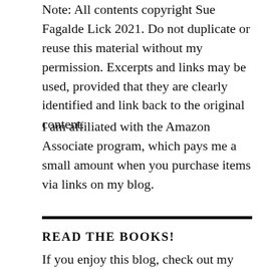Note: All contents copyright Sue Fagalde Lick 2021. Do not duplicate or reuse this material without my permission. Excerpts and links may be used, provided that they are clearly identified and link back to the original content.
I am affiliated with the Amazon Associate program, which pays me a small amount when you purchase items via links on my blog.
READ THE BOOKS!
If you enjoy this blog, check out my books, Shoes Full of Sand and Unleashed in Oregon: Best from the Blog, and Up Beaver Creek